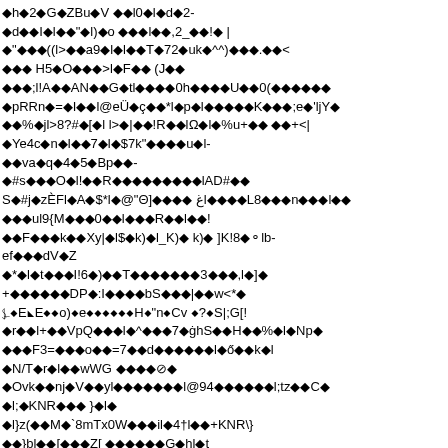Corrupted/encoded text block with diamond replacement characters interspersed with ASCII characters including letters, numbers, and symbols across multiple lines.